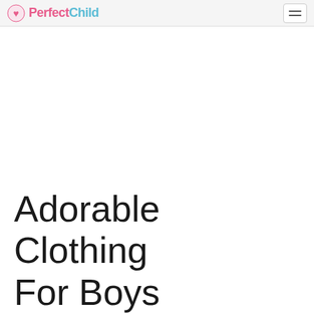PerfectChild
Adorable Clothing For Boys